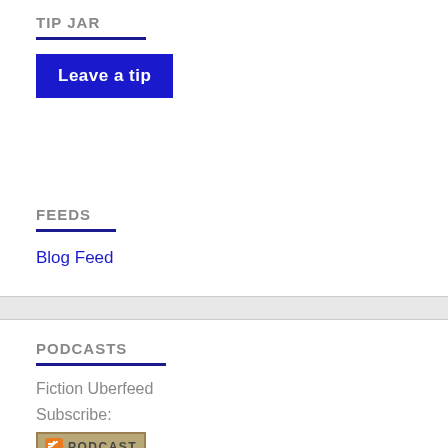TIP JAR
Leave a tip
FEEDS
Blog Feed
PODCASTS
Fiction Uberfeed
Subscribe:
[Figure (logo): Podcast RSS badge with orange RSS icon and PODCAST text label]